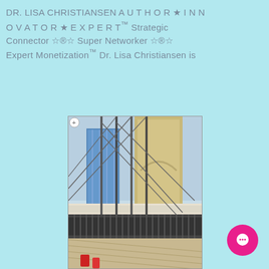DR. LISA CHRISTIANSEN A U T H O R ★ I N N O V A T O R ★ E X P E R T™ Strategic Connector ⓇTM Super Networker ⓇTM Expert Monetization™ Dr. Lisa Christiansen is
[Figure (photo): Photo of Brooklyn Bridge cables, towers, and walkway with city skyline in background, taken from the bridge deck looking up at suspension cables]